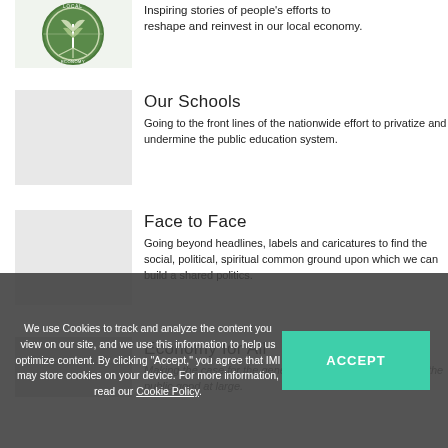[Figure (logo): Local economy circular logo with plant/leaf design and text around border]
Inspiring stories of people's efforts to reshape and reinvest in our local economy.
[Figure (photo): Gray placeholder image for Our Schools section]
Our Schools
Going to the front lines of the nationwide effort to privatize and undermine the public education system.
[Figure (photo): Gray placeholder image for Face to Face section]
Face to Face
Going beyond headlines, labels and caricatures to find the social, political, spiritual common ground upon which we can build a shared politics.
Economy for All
Making the case for the general welfare of Americans and the public good at large.
We use Cookies to track and analyze the content you view on our site, and we use this information to help us optimize content. By clicking "Accept," you agree that IMI may store cookies on your device. For more information, read our Cookie Policy.